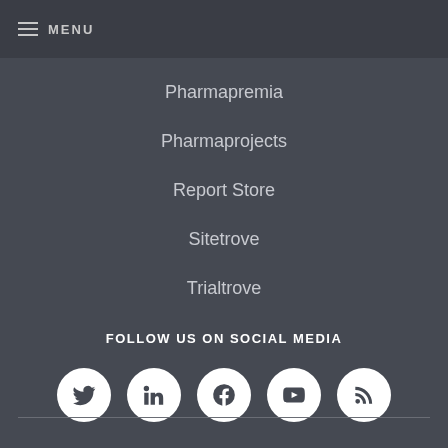MENU
Pharmapremia
Pharmaprojects
Report Store
Sitetrove
Trialtrove
FOLLOW US ON SOCIAL MEDIA
[Figure (illustration): Social media icons: Twitter, LinkedIn, Facebook, YouTube, RSS feed — white circles on dark background]